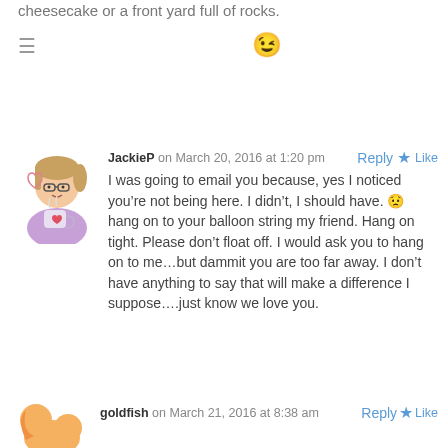cheesecake or a front yard full of rocks.
😉
JackieP on March 20, 2016 at 1:20 pm
I was going to email you because, yes I noticed you're not being here. I didn't, I should have. 😟
hang on to your balloon string my friend. Hang on tight. Please don't float off. I would ask you to hang on to me...but dammit you are too far away. I don't have anything to say that will make a difference I suppose....just know we love you.
goldfish on March 21, 2016 at 8:38 am